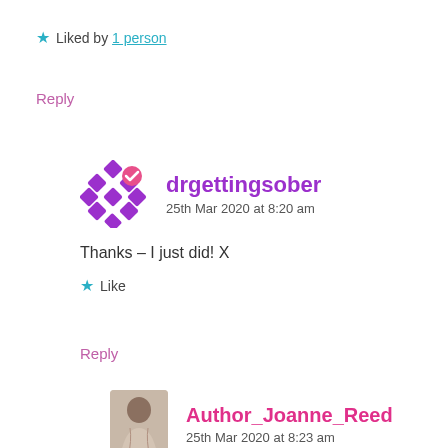★ Liked by 1 person
Reply
[Figure (illustration): Purple diamond/grid avatar icon with pink checkmark badge for user drgettingsober]
drgettingsober
25th Mar 2020 at 8:20 am
Thanks – I just did! X
★ Like
Reply
[Figure (photo): Small photo of a woman (Author_Joanne_Reed avatar)]
Author_Joanne_Reed
25th Mar 2020 at 8:23 am